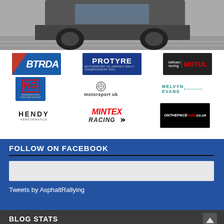[Figure (photo): Top portion of a racing car on a track, grey asphalt surface visible]
[Figure (other): Sponsor logos banner: BTRDA, PROTYRE Motorsport UK Asphalt Rally Championship 2022, Witham/MOTUL, NG nickygnist.com, Motorsport UK, Melvyn Evans, Hendy Performance, MINTEX RACING, OnThePaceNote.co.uk]
FOLLOW ON FACEBOOK
[Figure (screenshot): Facebook follow widget placeholder (light grey box)]
Tweets by AsphaltRallying
BLOG STATS